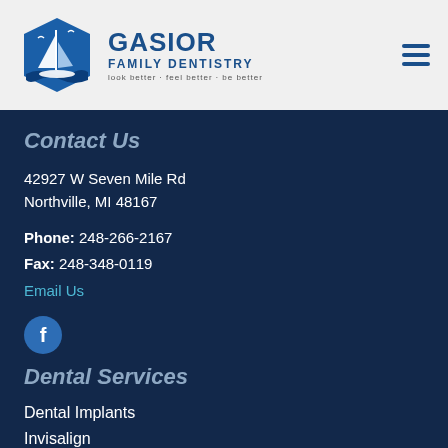[Figure (logo): Gasior Family Dentistry logo with sailboat hexagon icon and text 'GASIOR FAMILY DENTISTRY look better · feel better · be better']
Contact Us
42927 W Seven Mile Rd
Northville, MI 48167
Phone: 248-266-2167
Fax: 248-348-0119
Email Us
[Figure (logo): Facebook social media icon — blue circle with white 'f']
Dental Services
Dental Implants
Invisalign
Teeth Cleanings